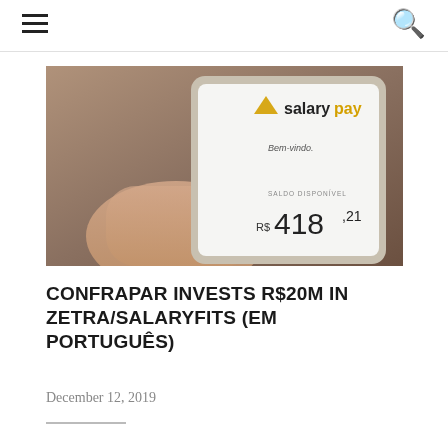≡  🔍
[Figure (photo): A hand holding a smartphone displaying the SalaryPay app. The screen shows the SalaryPay logo (triangle icon in yellow/gold and text 'salarypay' in dark/yellow), 'Bem-vindo.' text, 'SALDO DISPONÍVEL' label, and balance 'R$418,21'.]
CONFRAPAR INVESTS R$20M IN ZETRA/SALARYFITS (EM PORTUGUÊS)
December 12, 2019